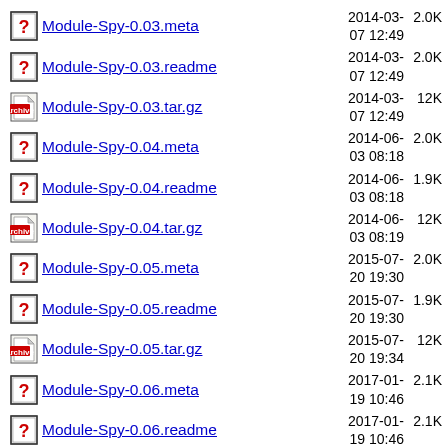Module-Spy-0.03.meta  2014-03-07 12:49  2.0K
Module-Spy-0.03.readme  2014-03-07 12:49  2.0K
Module-Spy-0.03.tar.gz  2014-03-07 12:49  12K
Module-Spy-0.04.meta  2014-06-03 08:18  2.0K
Module-Spy-0.04.readme  2014-06-03 08:18  1.9K
Module-Spy-0.04.tar.gz  2014-06-03 08:19  12K
Module-Spy-0.05.meta  2015-07-20 19:30  2.0K
Module-Spy-0.05.readme  2015-07-20 19:30  1.9K
Module-Spy-0.05.tar.gz  2015-07-20 19:34  12K
Module-Spy-0.06.meta  2017-01-19 10:46  2.1K
Module-Spy-0.06.readme  2017-01-19 10:46  2.1K